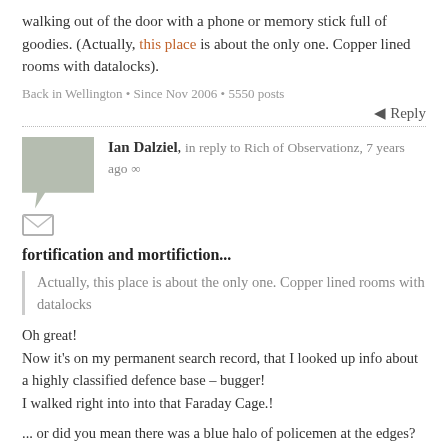walking out of the door with a phone or memory stick full of goodies. (Actually, this place is about the only one. Copper lined rooms with datalocks).
Back in Wellington • Since Nov 2006 • 5550 posts
◀ Reply
Ian Dalziel, in reply to Rich of Observationz, 7 years ago ∞
fortification and mortifiction...
Actually, this place is about the only one. Copper lined rooms with datalocks
Oh great!
Now it's on my permanent search record, that I looked up info about a highly classified defence base – bugger!
I walked right into into that Faraday Cage.!
... or did you mean there was a blue halo of policemen at the edges?
I wonder if a tress-passer